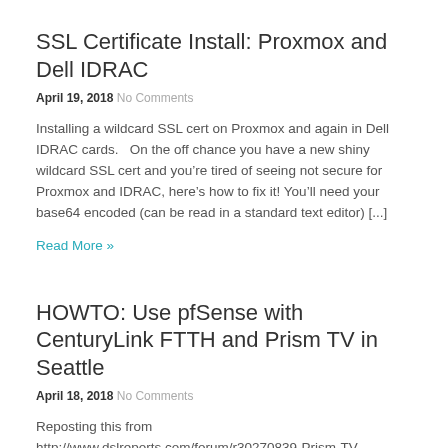SSL Certificate Install: Proxmox and Dell IDRAC
April 19, 2018 No Comments
Installing a wildcard SSL cert on Proxmox and again in Dell IDRAC cards.   On the off chance you have a new shiny wildcard SSL cert and you're tired of seeing not secure for Proxmox and IDRAC, here's how to fix it! You'll need your base64 encoded (can be read in a standard text editor) [...]
Read More »
HOWTO: Use pfSense with CenturyLink FTTH and Prism TV in Seattle
April 18, 2018 No Comments
Reposting this from http://www.dslreports.com/forum/r30270839-Prism-TV-HOWTO-Use-pfSense-with-CenturyLink-FTTH-and-Prism-TV-in-Seattle as it has been an amazing help for me and I don't